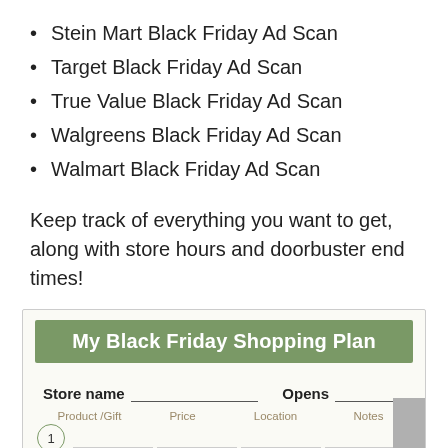Stein Mart Black Friday Ad Scan
Target Black Friday Ad Scan
True Value Black Friday Ad Scan
Walgreens Black Friday Ad Scan
Walmart Black Friday Ad Scan
Keep track of everything you want to get, along with store hours and doorbuster end times!
[Figure (other): My Black Friday Shopping Plan form with store name, opens fields, and columns for Product/Gift, Price, Location, Notes with a numbered row]